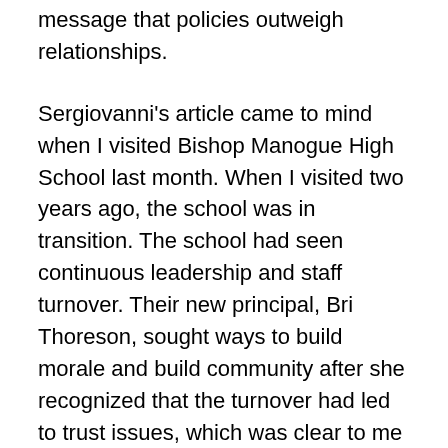message that policies outweigh relationships.
Sergiovanni's article came to mind when I visited Bishop Manogue High School last month. When I visited two years ago, the school was in transition. The school had seen continuous leadership and staff turnover. Their new principal, Bri Thoreson, sought ways to build morale and build community after she recognized that the turnover had led to trust issues, which was clear to me as an accreditation team member.
She attended a school culture workshop with a few teachers and tried two initiatives which both failed. This story has a happy ending but it's important to recognize that Thoreson's first two initiatives failed. Success doesn't always come immediately. She kept